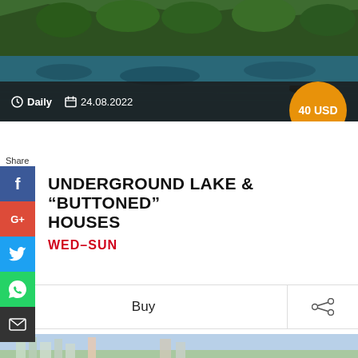[Figure (photo): Aerial or water-level view of an underground lake with lush green trees and rocky cliffs reflected in calm water, with a small boat visible]
Daily  24.08.2022
40 USD
UNDERGROUND LAKE & "BUTTONED" HOUSES
WED–SUN
Buy
[Figure (photo): Cityscape with multi-story residential buildings against a misty mountain backdrop]